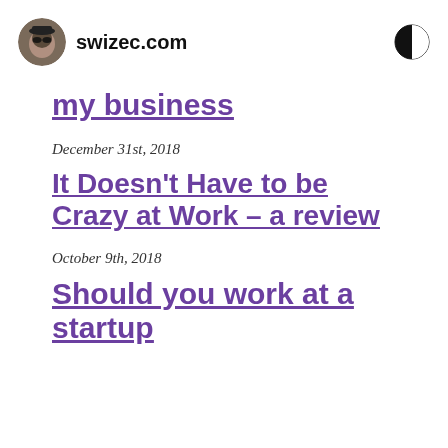swizec.com
my business
December 31st, 2018
It Doesn't Have to be Crazy at Work – a review
October 9th, 2018
Should you work at a startup